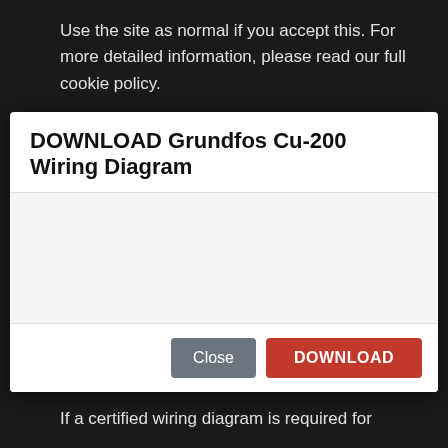Use the site as normal if you accept this. For more detailed information, please read our full cookie policy.
DOWNLOAD Grundfos Cu-200 Wiring Diagram
[Figure (other): Empty modal body content area]
Close
DOWNLOAD
Get Your Wiring Diagrams. These Wiring Diagrams are intended for general layout purposes only.
If a certified wiring diagram is required for